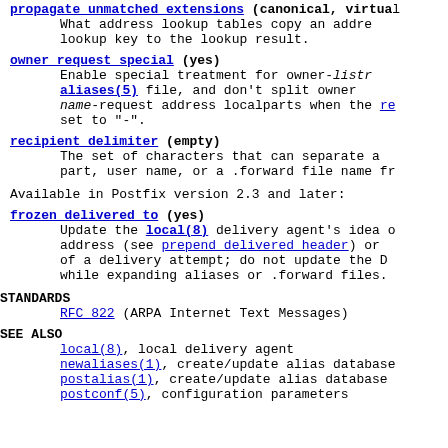propagate unmatched extensions (canonical, virtual...)
    What address lookup tables copy an address lookup key to the lookup result.
owner request special (yes)
    Enable special treatment for owner-list... aliases(5) file, and don't split owner name-request address localparts when the re... set to "-".
recipient delimiter (empty)
    The set of characters that can separate a... part, user name, or a .forward file name fr...
Available in Postfix version 2.3 and later:
frozen delivered to (yes)
    Update the local(8) delivery agent's idea o... address (see prepend delivered header) or... of a delivery attempt; do not update the D... while expanding aliases or .forward files.
STANDARDS
RFC 822 (ARPA Internet Text Messages)
SEE ALSO
local(8), local delivery agent
newaliases(1), create/update alias database
postalias(1), create/update alias database
postconf(5), configuration parameters